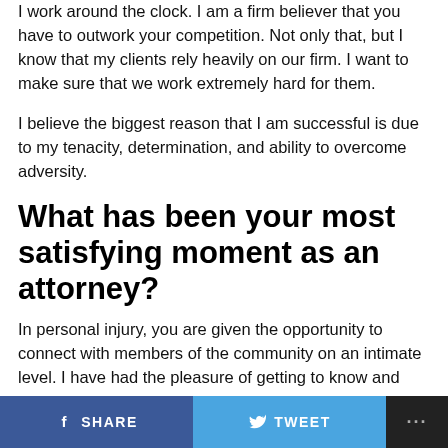I work around the clock. I am a firm believer that you have to outwork your competition. Not only that, but I know that my clients rely heavily on our firm. I want to make sure that we work extremely hard for them.
I believe the biggest reason that I am successful is due to my tenacity, determination, and ability to overcome adversity.
What has been your most satisfying moment as an attorney?
In personal injury, you are given the opportunity to connect with members of the community on an intimate level. I have had the pleasure of getting to know and
SHARE  TWEET  ...